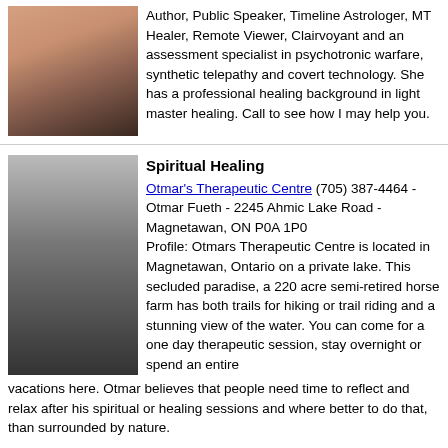[Figure (photo): Portrait photo of a woman]
Author, Public Speaker, Timeline Astrologer, MT Healer, Remote Viewer, Clairvoyant and an assessment specialist in psychotronic warfare, synthetic telepathy and covert technology. She has a professional healing background in light master healing. Call to see how I may help you.
[Figure (photo): Black and white portrait photo of an older smiling man]
Spiritual Healing
Otmar's Therapeutic Centre (705) 387-4464 - Otmar Fueth - 2245 Ahmic Lake Road - Magnetawan, ON P0A 1P0
Profile: Otmars Therapeutic Centre is located in Magnetawan, Ontario on a private lake. This secluded paradise, a 220 acre semi-retired horse farm has both trails for hiking or trail riding and a stunning view of the water. You can come for a one day therapeutic session, stay overnight or spend an entire vacations here. Otmar believes that people need time to reflect and relax after his spiritual or healing sessions and where better to do that, than surrounded by nature.
Get featured for $63 CAN/year ($49 US)
Events
September 15-18, 2022
[Figure (photo): Small thumbnail photo for event]
CHFA NOW Natural Organic Wellness Expo -